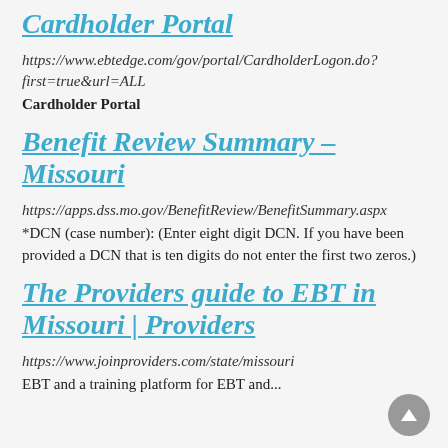Cardholder Portal
https://www.ebtedge.com/gov/portal/CardholderLogon.do?first=true&url=ALL
Cardholder Portal
Benefit Review Summary – Missouri
https://apps.dss.mo.gov/BenefitReview/BenefitSummary.aspx
*DCN (case number): (Enter eight digit DCN. If you have been provided a DCN that is ten digits do not enter the first two zeros.)
The Providers guide to EBT in Missouri | Providers
https://www.joinproviders.com/state/missouri
EBT and a training platform for EBT and...